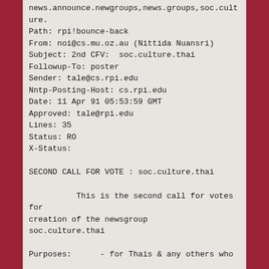news.announce.newgroups,news.groups,soc.culture.
Path: rpi!bounce-back
From: noi@cs.mu.oz.au (Nittida Nuansri)
Subject: 2nd CFV:  soc.culture.thai
Followup-To: poster
Sender: tale@cs.rpi.edu
Nntp-Posting-Host: cs.rpi.edu
Date: 11 Apr 91 05:53:59 GMT
Approved: tale@rpi.edu
Lines: 35
Status: RO
X-Status:

SECOND CALL FOR VOTE : soc.culture.thai

          This is the second call for votes for creation of the newsgroup
soc.culture.thai

Purposes:      - for Thais & any others who
 are interested in Thai culture